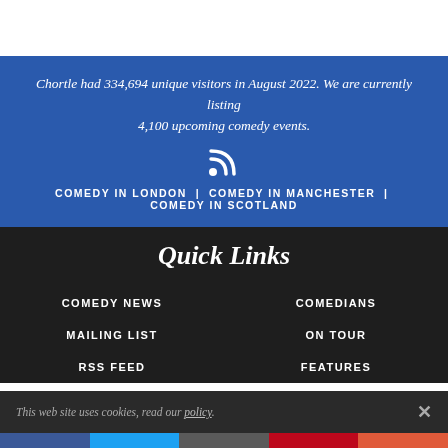Chortle had 334,694 unique visitors in August 2022. We are currently listing 4,100 upcoming comedy events.
[Figure (other): RSS feed icon (wifi/signal symbol in white)]
COMEDY IN LONDON | COMEDY IN MANCHESTER | COMEDY IN SCOTLAND
Quick Links
COMEDY NEWS
COMEDIANS
MAILING LIST
ON TOUR
RSS FEED
FEATURES
This web site uses cookies, read our policy.
[Figure (other): Social media share bar with Facebook, Twitter, Email, Pinterest, and More buttons]